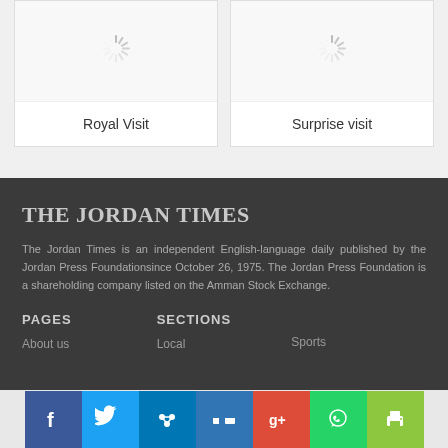[Figure (screenshot): Two image cards with loading spinners. Left card labeled 'Royal Visit', right card labeled 'Surprise visit'.]
Royal Visit
Surprise visit
THE JORDAN TIMES
The Jordan Times is an independent English-language daily published by the Jordan Press Foundationsince October 26, 1975. The Jordan Press Foundation is a shareholding company listed on the Amman Stock Exchange.
PAGES
SECTIONS
About us
Local
Sports
[Figure (screenshot): Social media icon bar with Facebook, Twitter, LinkedIn, Delicious, Google+, WhatsApp, and Print icons.]